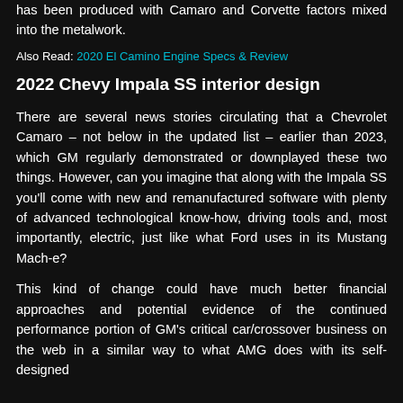has been produced with Camaro and Corvette factors mixed into the metalwork.
Also Read: 2020 El Camino Engine Specs & Review
2022 Chevy Impala SS interior design
There are several news stories circulating that a Chevrolet Camaro – not below in the updated list – earlier than 2023, which GM regularly demonstrated or downplayed these two things. However, can you imagine that along with the Impala SS you'll come with new and remanufactured software with plenty of advanced technological know-how, driving tools and, most importantly, electric, just like what Ford uses in its Mustang Mach-e?
This kind of change could have much better financial approaches and potential evidence of the continued performance portion of GM's critical car/crossover business on the web in a similar way to what AMG does with its self-designed